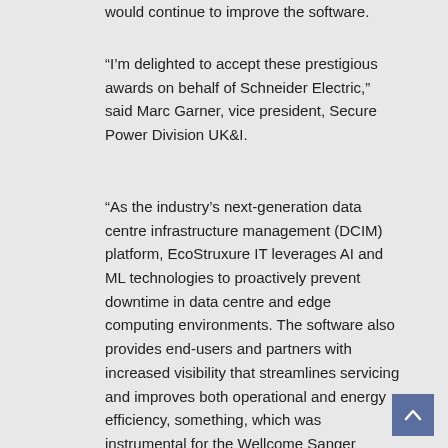would continue to improve the software.
“I’m delighted to accept these prestigious awards on behalf of Schneider Electric,” said Marc Garner, vice president, Secure Power Division UK&I.
“As the industry’s next-generation data centre infrastructure management (DCIM) platform, EcoStruxure IT leverages AI and ML technologies to proactively prevent downtime in data centre and edge computing environments. The software also provides end-users and partners with increased visibility that streamlines servicing and improves both operational and energy efficiency, something, which was instrumental for the Wellcome Sanger Institute.”